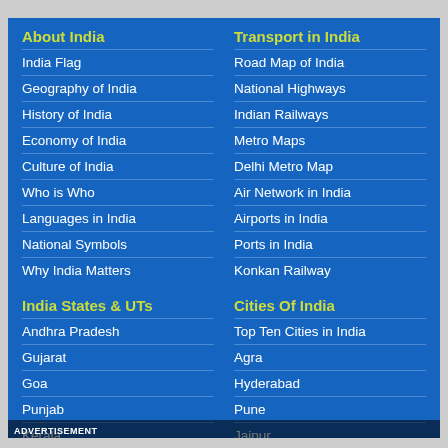About India
India Flag
Geography of India
History of India
Economy of India
Culture of India
Who is Who
Languages in India
National Symbols
Why India Matters
India States & UTs
Andhra Pradesh
Gujarat
Goa
Punjab
Kerala
West Bengal
Madhya Pradesh
Transport in India
Road Map of India
National Highways
Indian Railways
Metro Maps
Delhi Metro Map
Air Network in India
Airports in India
Ports in India
Konkan Railway
Cities Of India
Top Ten Cities in India
Agra
Hyderabad
Pune
Jaipur
Chandigarh
Kanpur
ADVERTISEMENT